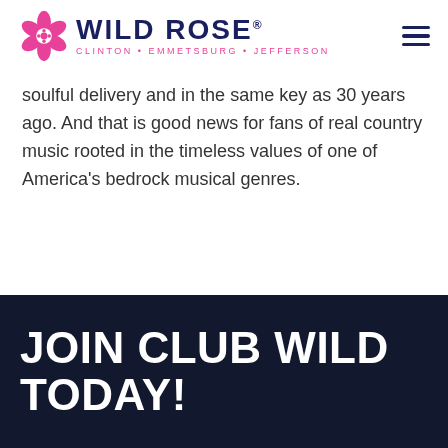[Figure (logo): Wild Rose Casino logo with pink flower and navy text reading WILD ROSE with subtitle CLINTON • EMMETSBURG • JEFFERSON]
soulful delivery and in the same key as 30 years ago. And that is good news for fans of real country music rooted in the timeless values of one of America's bedrock musical genres.
JOIN CLUB WILD TODAY!